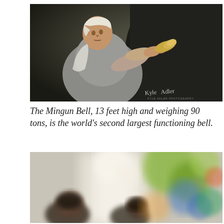[Figure (photo): An elderly woman in traditional headwear holds a scrubbing implement against a large dark bell surface. Photographer watermark reads 'Kyle Adler' in bottom right corner. Dark, moody photography with dramatic lighting.]
The Mingun Bell, 13 feet high and weighing 90 tons, is the world's second largest functioning bell.
[Figure (photo): A blurred, bokeh-style photograph showing what appears to be children in a colorful room or classroom setting. The image is intentionally out of focus with bright greens, blues, and warm tones.]